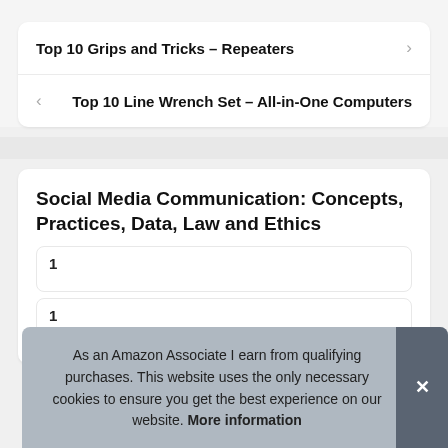Top 10 Grips and Tricks – Repeaters
Top 10 Line Wrench Set – All-in-One Computers
Social Media Communication: Concepts, Practices, Data, Law and Ethics
As an Amazon Associate I earn from qualifying purchases. This website uses the only necessary cookies to ensure you get the best experience on our website. More information